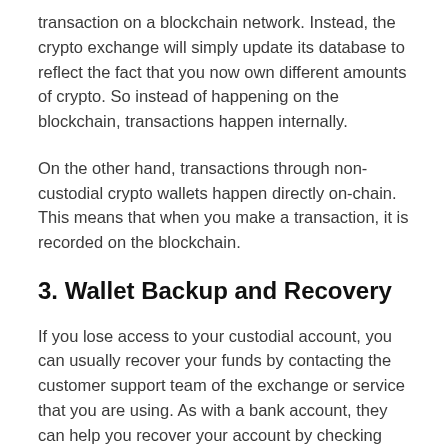transaction on a blockchain network. Instead, the crypto exchange will simply update its database to reflect the fact that you now own different amounts of crypto. So instead of happening on the blockchain, transactions happen internally.
On the other hand, transactions through non-custodial crypto wallets happen directly on-chain. This means that when you make a transaction, it is recorded on the blockchain.
3. Wallet Backup and Recovery
If you lose access to your custodial account, you can usually recover your funds by contacting the customer support team of the exchange or service that you are using. As with a bank account, they can help you recover your account by checking your ID documents to verify that you are the real owner of the account.